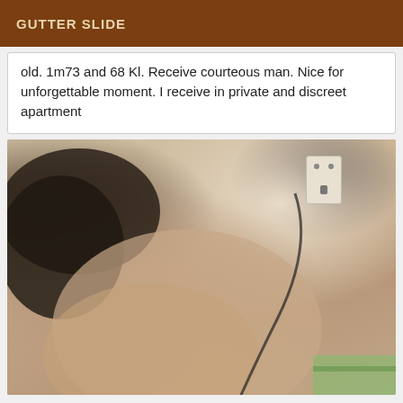GUTTER SLIDE
old. 1m73 and 68 Kl. Receive courteous man. Nice for unforgettable moment. I receive in private and discreet apartment
[Figure (photo): A close-up photo of a person lying down, dark hair visible, with a wall outlet and charging cable visible in the background. Warm vintage tone.]